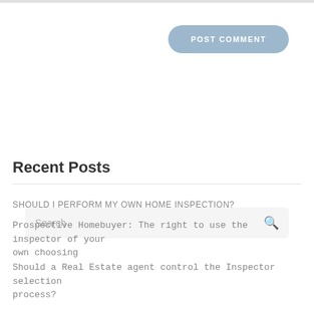[Figure (other): POST COMMENT button — rounded rectangle, light blue/steel color]
[Figure (other): Search bar with magnifying glass icon on light gray background]
Recent Posts
SHOULD I PERFORM MY OWN HOME INSPECTION?
Prospective Homebuyer: The right to use the inspector of your own choosing
Should a Real Estate agent control the Inspector selection process?